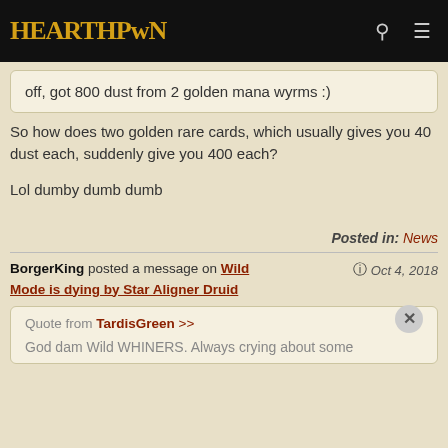HEARTHPWN
off, got 800 dust from 2 golden mana wyrms :)
So how does two golden rare cards, which usually gives you 40 dust each, suddenly give you 400 each?
Lol dumby dumb dumb
Posted in: News
BorgerKing posted a message on Wild Mode is dying by Star Aligner Druid   Oct 4, 2018
Quote from TardisGreen >>
God dam Wild WHINERS. Always crying about some